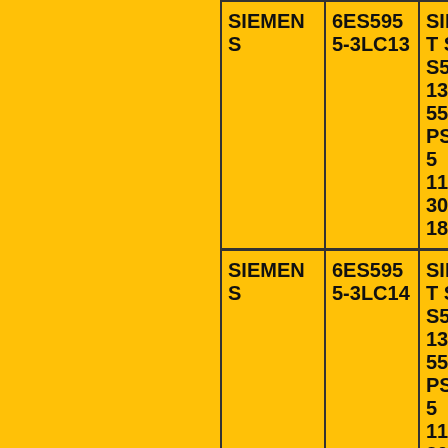| Manufacturer | Part Number | Description |
| --- | --- | --- |
| SIEMENS | 6ES5955-3LC13 | SIMAT S5, S5-135/155 PS955 115/230 18A |
| SIEMENS | 6ES5955-3LC14 | SIMAT S5, S5-135/155 PS955 115/230 18A |
| SIEMENS | 6ES5955-3LC33 | SIMAT S5, S5-135/155 PS955 115/220 18A |
| SIEMENS | 6ES5955-3LC41 | SIMAT S5, S5-... |